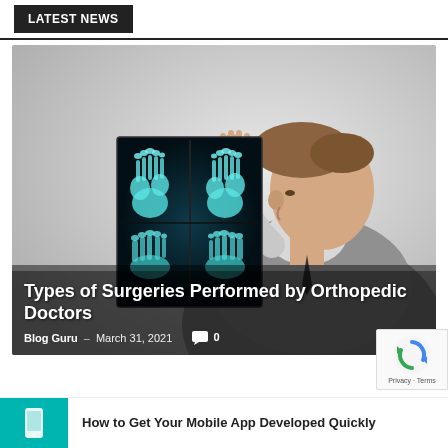LATEST NEWS
[Figure (photo): A doctor in a grey suit holding up and examining an X-ray of two feet against a light background.]
Types of Surgeries Performed by Orthopedic Doctors
Blog Guru – March 31, 2021  💬 0
How to Get Your Mobile App Developed Quickly